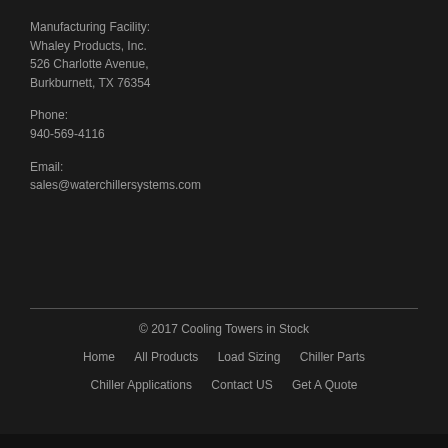Manufacturing Facility:
Whaley Products, Inc.
526 Charlotte Avenue,
Burkburnett, TX 76354
Phone:
940-569-4116
Email:
sales@waterchillersystems.com
© 2017 Cooling Towers in Stock
Home   All Products   Load Sizing   Chiller Parts   Chiller Applications   Contact US   Get A Quote